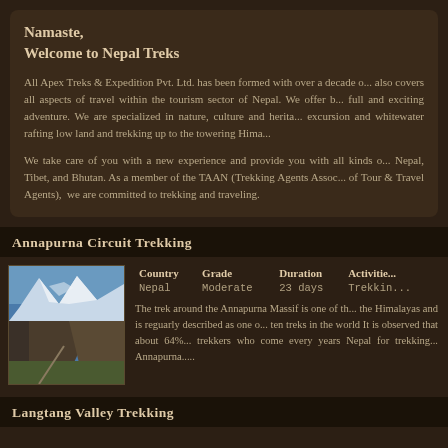Namaste,
Welcome to Nepal Treks
All Apex Treks & Expedition Pvt. Ltd. has been formed with over a decade o... also covers all aspects of travel within the tourism sector of Nepal. We offer b... full and exciting adventure. We are specialized in nature, culture and herita... excursion and whitewater rafting low land and trekking up to the towering Hima...
We take care of you with a new experience and provide you with all kinds o... Nepal, Tibet, and Bhutan. As a member of the TAAN (Trekking Agents Assoc... of Tour & Travel Agents), we are committed to trekking and traveling.
Annapurna Circuit Trekking
[Figure (photo): Mountain landscape photo showing snow-capped Himalayan peaks with a valley road]
| Country | Grade | Duration | Activities |
| --- | --- | --- | --- |
| Nepal | Moderate | 23 days | Trekkin... |
The trek around the Annapurna Massif is one of th... the Himalayas and is reguarly described as one o... ten treks in the world It is observed that about 64%... trekkers who come every years Nepal for trekking... Annapurna.....
Langtang Valley Trekking